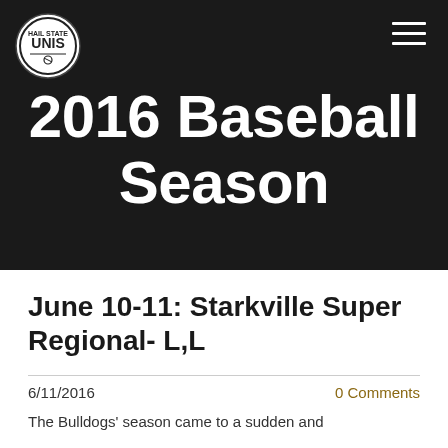HAIL STATE UNIS
2016 Baseball Season
June 10-11: Starkville Super Regional- L,L
6/11/2016
0 Comments
The Bulldogs' season came to a sudden and